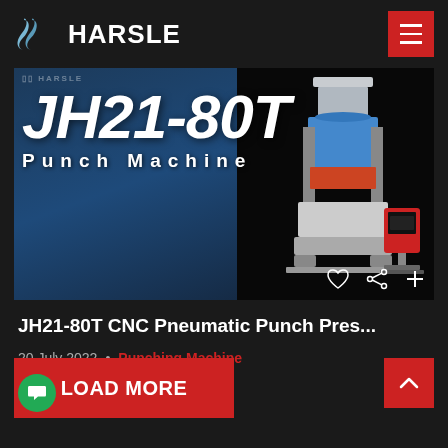HARSLE
[Figure (photo): JH21-80T Punch Machine promotional image showing a CNC pneumatic punch press machine (blue/grey) on white background and another industrial press machine, with overlaid bold white text 'JH21-80T Punch Machine' and social interaction icons (heart, share, plus) at bottom right.]
JH21-80T CNC Pneumatic Punch Pres...
20 July 2022  •  Punching Machine
LOAD MORE